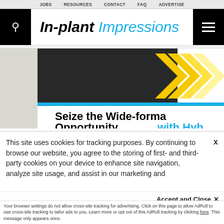In-plant Impressions
[Figure (screenshot): Banner advertisement showing 'Seize the Wide-format Opportunity with Hyb...' with dark and yellow chevron graphic elements and a cyan accent bar]
This site uses cookies for tracking purposes. By continuing to browse our website, you agree to the storing of first- and third-party cookies on your device to enhance site navigation, analyze site usage, and assist in our marketing and
Accept and Close ✕
Your browser settings do not allow cross-site tracking for advertising. Click on this page to allow AdRoll to use cross-site tracking to tailor ads to you. Learn more or opt out of this AdRoll tracking by clicking here. This message only appears once.